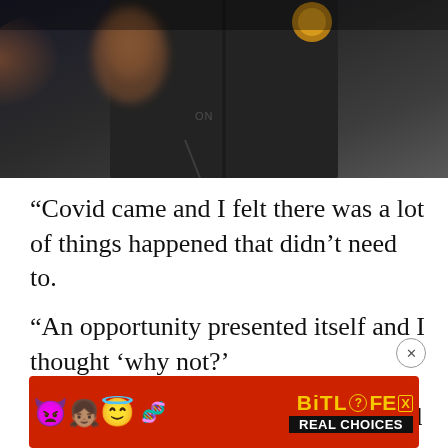[Figure (photo): A person wearing a dark/black jacket with a small logo visible, partial view of their torso. Blurred background with hints of orange/crowd.]
“Covid came and I felt there was a lot of things happened that didn’t need to.
“An opportunity presented itself and I thought ‘why not?’
“I don’t want to have any regrets, and thought I’m going to throw myself at it and give it a go.
[Figure (other): Advertisement banner for BitLife game with red background, cartoon emoji characters (devil, girl, angel, winking face), BitLife logo in yellow, and text REAL CHOICES on black bar.]